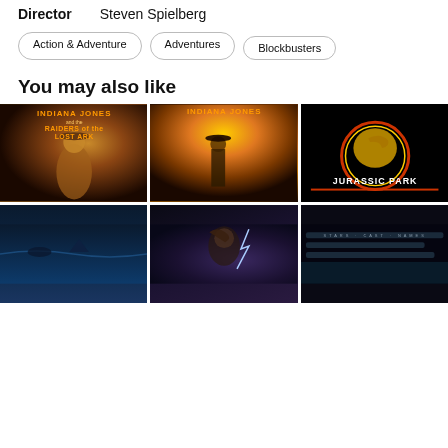Director   Steven Spielberg
Action & Adventure
Adventures
Blockbusters
You may also like
[Figure (photo): Indiana Jones and the Raiders of the Lost Ark movie poster]
[Figure (photo): Indiana Jones movie poster (Kingdom of the Crystal Skull)]
[Figure (photo): Jurassic Park movie poster]
[Figure (photo): Jaws movie poster partial]
[Figure (photo): Close Encounters or similar film poster partial]
[Figure (photo): Film poster with cast names partial]